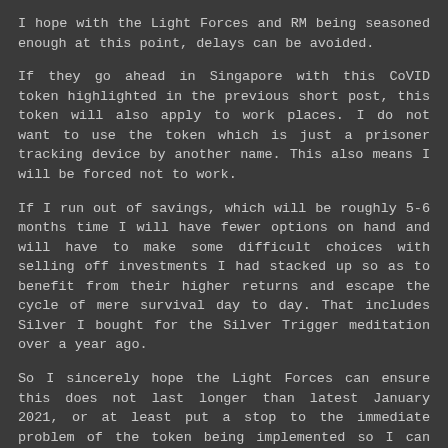I hope with the Light Forces and RM being seasoned enough at this point, delays can be avoided.
If they go ahead in Singapore with this CoVID token highlighted in the previous short post, this token will also apply to work places. I do not want to use the token which is just a prisoner tracking device by another name. This also means I will be forced not to work.
If I run out of savings, which will be roughly 5-6 months time I will have fewer options on hand and will have to make some difficult choices with selling off investments I had stacked up so as to benefit from their higher returns and escape the cycle of mere survival day to day. That includes Silver I bought for the Silver Trigger meditation over a year ago.
So I sincerely hope the Light Forces can ensure this does not last longer than latest January 2021, or at least put a stop to the immediate problem of the token being implemented so I can work and avoid the above situation.